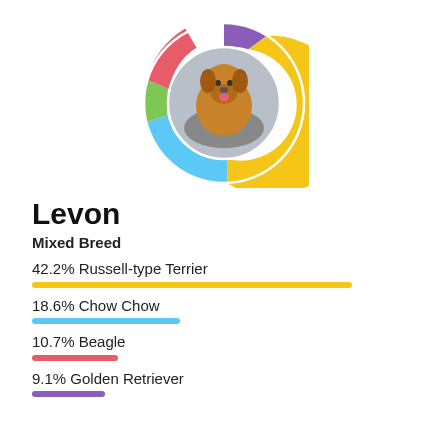[Figure (donut-chart): Levon breed breakdown]
Levon
Mixed Breed
42.2% Russell-type Terrier
18.6% Chow Chow
10.7% Beagle
9.1% Golden Retriever